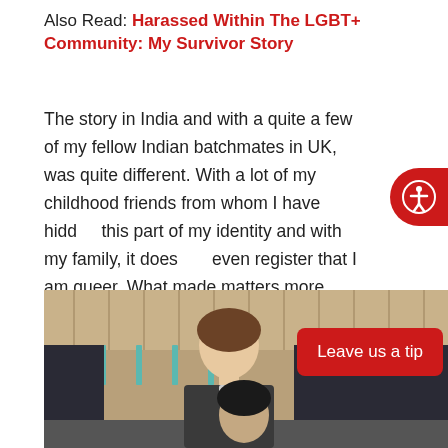Also Read: Harassed Within The LGBT+ Community: My Survivor Story
The story in India and with a quite a few of my fellow Indian batchmates in UK, was quite different. With a lot of my childhood friends from whom I have hidden this part of my identity and with my family, it does not even register that I am queer. What made matters more unconventional was that I was the older one in a seemingly heteronormative relationship.
[Figure (photo): Two people standing together in what appears to be an indoor venue with wooden walls and dark curtains in the background. A young man with longer hair is visible, smiling.]